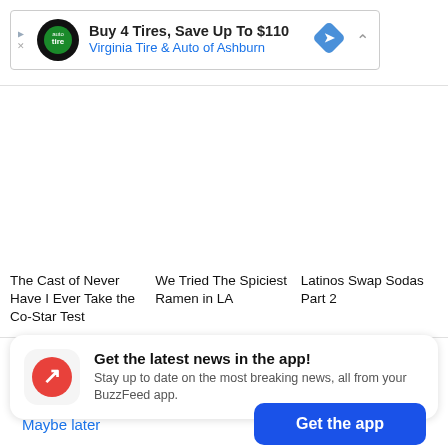[Figure (other): Advertisement banner: Buy 4 Tires, Save Up To $110 - Virginia Tire & Auto of Ashburn with logo and navigation icon]
The Cast of Never Have I Ever Take the Co-Star Test
We Tried The Spiciest Ramen in LA
Latinos Swap Sodas Part 2
Get the latest news in the app! Stay up to date on the most breaking news, all from your BuzzFeed app.
Maybe later
Get the app